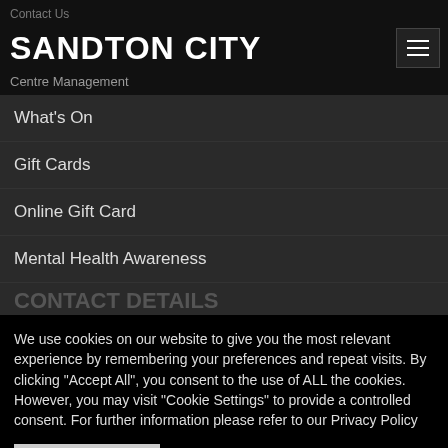Contact Us
SANDTON CITY
Centre Management
What's On
Gift Cards
Online Gift Card
Mental Health Awareness
We use cookies on our website to give you the most relevant experience by remembering your preferences and repeat visits. By clicking "Accept All", you consent to the use of ALL the cookies. However, you may visit "Cookie Settings" to provide a controlled consent. For further information please refer to our Privacy Policy
Cookie Settings | Accept All